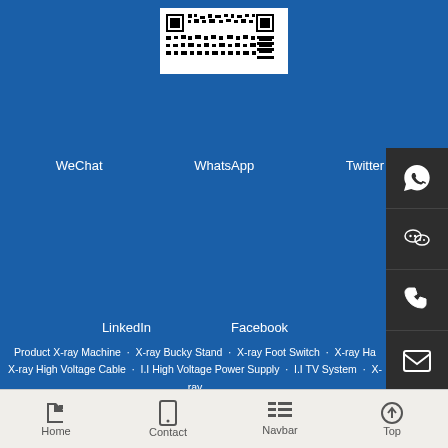[Figure (other): QR code image in white box]
WeChat   WhatsApp   Twitter
LinkedIn   Facebook
Product X-ray Machine  X-ray Bucky Stand  X-ray Foot Switch  X-ray Ha...  X-ray High Voltage Cable  I.I High Voltage Power Supply  I.I TV System  X-ray  Image Intensifier  X-ray Collimator  X-ray Radiology table
Home  Contact  Navbar  Top